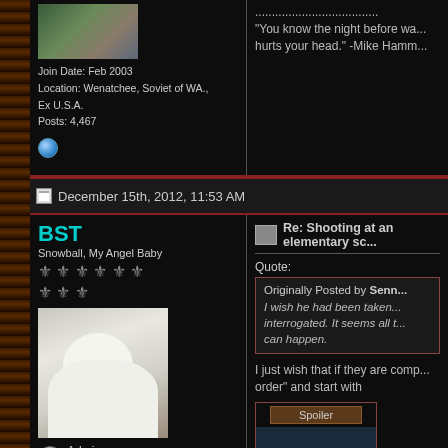[Figure (photo): User avatar photo (partial, top cut off) showing a figure among foliage]
Join Date: Feb 2003
Location: Wenatchee, Soviet of WA., Ex U.S.A.
Posts: 4,467
"You know the night before wa... hurts your head." -Mike Hamm...
December 15th, 2012, 11:53 AM
BST
Snowball, My Angel Baby
[Figure (photo): Photo of a white cat lying on a dark red/brown couch, looking at the camera]
Admin
Colonial Fleets
Join Date: Mar 2003
Location: Somewhere across the heavens... aka Pittsburgh, PA
Re: Shooting at an elementary sc...
Quote:
Originally Posted by Senn...
I wish he had been taken... interrogated. It seems all t... can happen.
I just wish that if they are comp... order" and start with
Spoiler
.